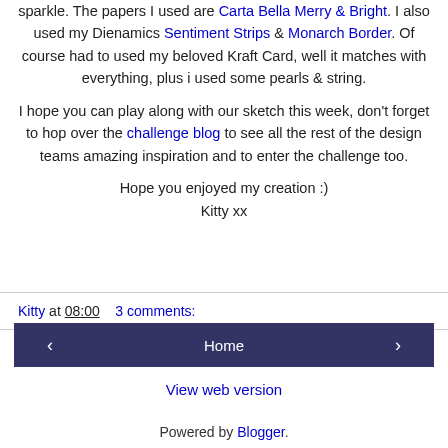sparkle. The papers I used are Carta Bella Merry & Bright. I also used my Dienamics Sentiment Strips & Monarch Border. Of course had to used my beloved Kraft Card, well it matches with everything, plus i used some pearls & string.
I hope you can play along with our sketch this week, don't forget to hop over the challenge blog to see all the rest of the design teams amazing inspiration and to enter the challenge too.
Hope you enjoyed my creation :)
Kitty xx
Kitty at 08:00   3 comments:
‹  Home  ›
View web version
Powered by Blogger.